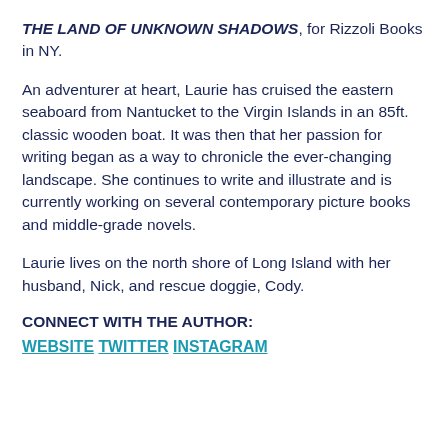THE LAND OF UNKNOWN SHADOWS, for Rizzoli Books in NY.
An adventurer at heart, Laurie has cruised the eastern seaboard from Nantucket to the Virgin Islands in an 85ft. classic wooden boat. It was then that her passion for writing began as a way to chronicle the ever-changing landscape. She continues to write and illustrate and is currently working on several contemporary picture books and middle-grade novels.
Laurie lives on the north shore of Long Island with her husband, Nick, and rescue doggie, Cody.
CONNECT WITH THE AUTHOR:
WEBSITE
TWITTER
INSTAGRAM